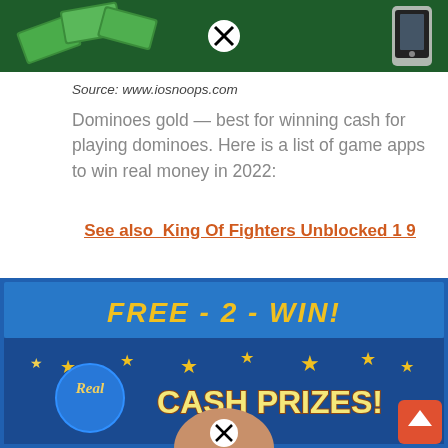[Figure (screenshot): Screenshot of a mobile game ad with dark green background, floating money bills, a close button (X in circle), and a phone icon in the top right corner.]
Source: www.iosnoops.com
Dominoes gold — best for winning cash for playing dominoes. Here is a list of game apps to win real money in 2022:
See also  King Of Fighters Unblocked 1 9
[Figure (screenshot): Screenshot of a mobile game ad with blue background banner reading 'FREE - 2 - WIN!' and stars, showing 'Real CASH PRIZES!' text with a woman's face partially visible, close button at bottom center, and back-to-top orange button at bottom right.]